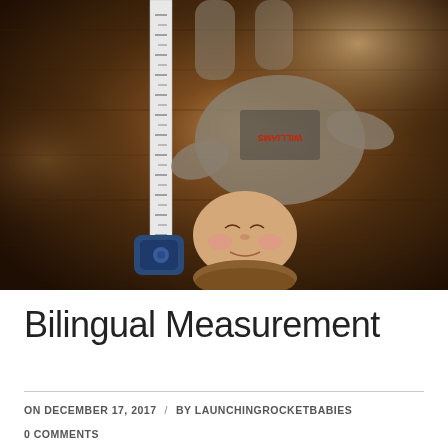[Figure (photo): Child lying upside down on a hardwood floor next to a measuring tape, wearing a grey graphic t-shirt. Photo taken from above, child's face visible upside down.]
Bilingual Measurement
ON DECEMBER 17, 2017 / BY LAUNCHINGROCKETBABIES
0 COMMENTS